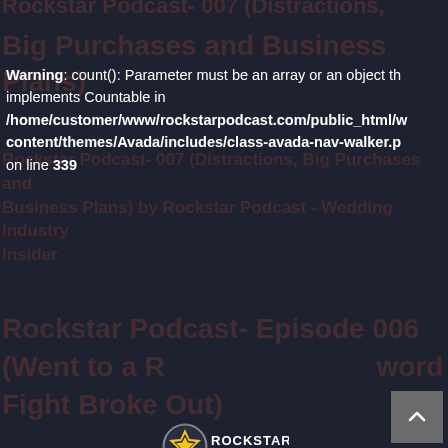Rockstar Podcast- 007 (Distractions, Big Purchases and Business Plans)
Warning: count(): Parameter must be an array or an object that implements Countable in /home/customer/www/rockstarpodcast.com/public_html/wp-content/themes/Avada/includes/class-avada-nav-walker.php on line 339
Rockstar Podcast- 007 (Distractions, Big Purchases and Business Plans) by Rockstar Podcast - Wedding Industry Insider
[Figure (logo): Rockstar Podcast logo with star icon and text ROCKSTAR PODCAST]
Rockstar Podcast- Episode 006 (Went to a Podcast and a Sword Fight Broke Out) by Rockstar Podcast - Wedding Industry Insider